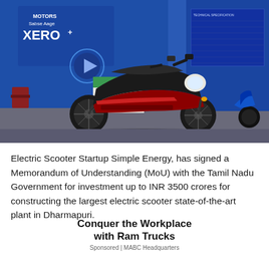[Figure (photo): Photo of a red and black electric scooter on display at an exhibition booth. Blue banners in the background show 'MOTORS Sabse Aage XERO+' branding. Another blue electric scooter is visible on the right side. A green display stand and chairs are visible in the background.]
Electric Scooter Startup Simple Energy, has signed a Memorandum of Understanding (MoU) with the Tamil Nadu Government for investment up to INR 3500 crores for constructing the largest electric scooter state-of-the-art plant in Dharmapuri.
Conquer the Workplace with Ram Trucks
Sponsored | MABC Headquarters